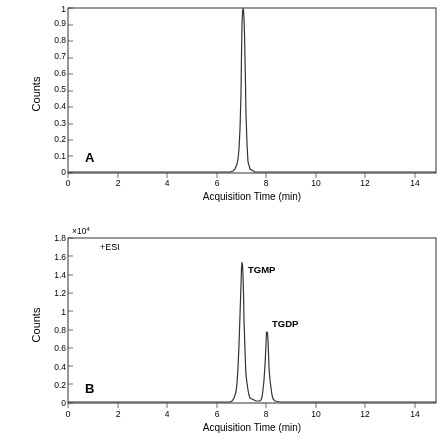[Figure (continuous-plot): Panel A: Chromatogram (TIC or selected ion) showing a single sharp peak at approximately 7 minutes. Y-axis labeled 'Counts' from 0 to 1 (normalized). X-axis labeled 'Acquisition Time (min)' from 0 to 14+. Letter A label in lower-left.]
[Figure (continuous-plot): Panel B: Chromatogram (+ESI mode) showing two peaks: TGMP peak at ~7 min (~1.55 x10^4 counts) and TGDP peak at ~8 min (~0.78 x10^4 counts). Y-axis labeled 'Counts' in x10^4, range 0 to 1.8. X-axis labeled 'Acquisition Time (min)' from 0 to 14+. Letter B label in lower-left.]